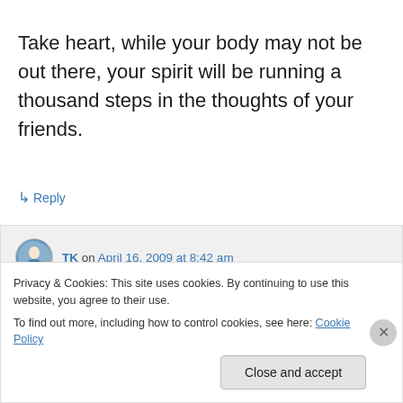Take heart, while your body may not be out there, your spirit will be running a thousand steps in the thoughts of your friends.
↳ Reply
TK on April 16, 2009 at 8:42 am
I love that idea, that I'll be invisible company with my running friends as they train.
Privacy & Cookies: This site uses cookies. By continuing to use this website, you agree to their use.
To find out more, including how to control cookies, see here: Cookie Policy
Close and accept